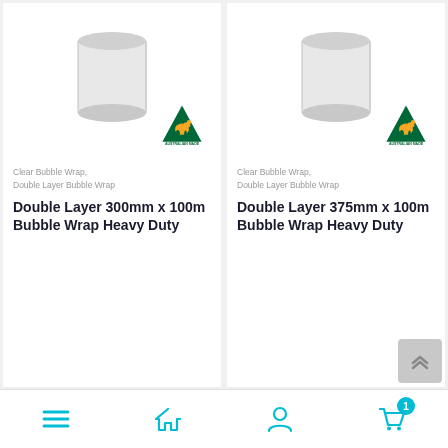[Figure (photo): Product image of a white roll (bubble wrap) with Australian Made logo (green triangle with kangaroo) — left card]
Clear Bubble Wrap, Double Layer Bubble Wrap
Double Layer 300mm x 100m Bubble Wrap Heavy Duty
[Figure (photo): Product image of a white roll (bubble wrap) with Australian Made logo (green triangle with kangaroo) — right card]
Clear Bubble Wrap, Double Layer Bubble Wrap
Double Layer 375mm x 100m Bubble Wrap Heavy Duty
[Figure (other): Scroll-to-top button with double chevron up arrow]
Navigation bar: menu (hamburger), home, user/account, cart (with badge: 1)